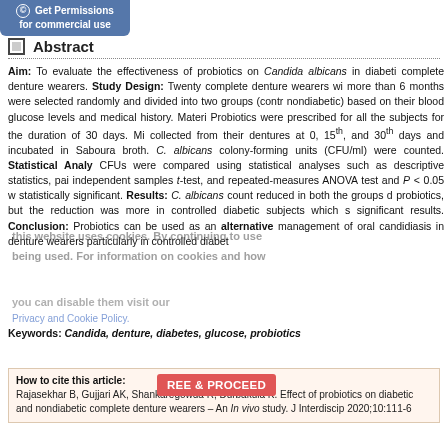[Figure (other): Blue rounded button: copyright icon, 'Get Permissions for commercial use']
Abstract
Aim: To evaluate the effectiveness of probiotics on Candida albicans in diabetic complete denture wearers. Study Design: Twenty complete denture wearers with more than 6 months were selected randomly and divided into two groups (control, nondiabetic) based on their blood glucose levels and medical history. Material: Probiotics were prescribed for all the subjects for the duration of 30 days. Microbial collected from their dentures at 0, 15th, and 30th days and incubated in Sabouraud broth. C. albicans colony-forming units (CFU/ml) were counted. Statistical Analysis: CFUs were compared using statistical analyses such as descriptive statistics, paired independent samples t-test, and repeated-measures ANOVA test and P < 0.05 was statistically significant. Results: C. albicans count reduced in both the groups due probiotics, but the reduction was more in controlled diabetic subjects which showed significant results. Conclusion: Probiotics can be used as an alternative management of oral candidiasis in denture wearers particularly in controlled diabetic
Keywords: Candida, denture, diabetes, glucose, probiotics
How to cite this article: Rajasekhar B, Gujjari AK, Shankaregowda R, Durbakula K. Effect of probiotics on diabetic and nondiabetic complete denture wearers – An In vivo study. J Interdiscip 2020;10:111-6